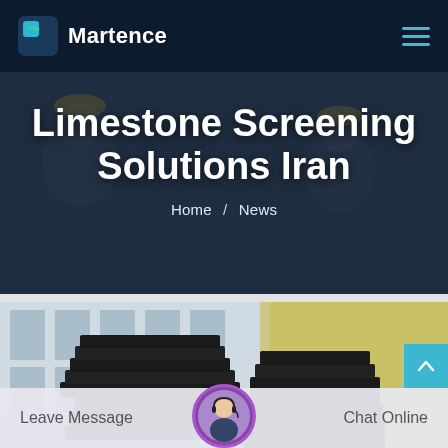Martence
Limestone Screening Solutions Iran
Home / News
[Figure (photo): Industrial limestone screening facility with stacked black conveyor belt components and a building in the background]
Leave Message
Chat Online